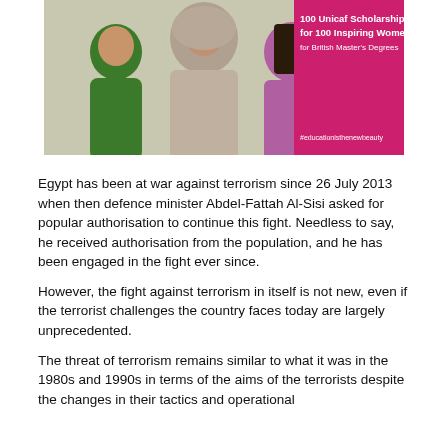[Figure (photo): Advertisement image showing three women, one in green, one in beige hijab, one in purple/pink. Pink panel on the right with text: '100 Unicaf Scholarships for 100 Inspiring Women for British Master's Degrees' and hashtag '#educationisthenewbeauty']
Egypt has been at war against terrorism since 26 July 2013 when then defence minister Abdel-Fattah Al-Sisi asked for popular authorisation to continue this fight. Needless to say, he received authorisation from the population, and he has been engaged in the fight ever since.
However, the fight against terrorism in itself is not new, even if the terrorist challenges the country faces today are largely unprecedented.
The threat of terrorism remains similar to what it was in the 1980s and 1990s in terms of the aims of the terrorists despite the changes in their tactics and operational